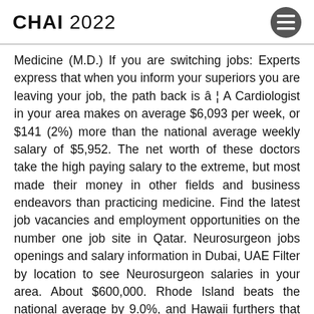CHAI 2022
Medicine (M.D.) If you are switching jobs: Experts express that when you inform your superiors you are leaving your job, the path back is â¦ A Cardiologist in your area makes on average $6,093 per week, or $141 (2%) more than the national average weekly salary of $5,952. The net worth of these doctors take the high paying salary to the extreme, but most made their money in other fields and business endeavors than practicing medicine. Find the latest job vacancies and employment opportunities on the number one job site in Qatar. Neurosurgeon jobs openings and salary information in Dubai, UAE Filter by location to see Neurosurgeon salaries in your area. About $600,000. Rhode Island beats the national average by 9.0%, and Hawaii furthers that trend with another $38,122 (12.9%) above the $295,749. Patrick Soon Shiong As the richest doctor on earth, Patrick Soon Shiong is a doctor turned entrepreneur â¦ Home / Uncategorized / how many